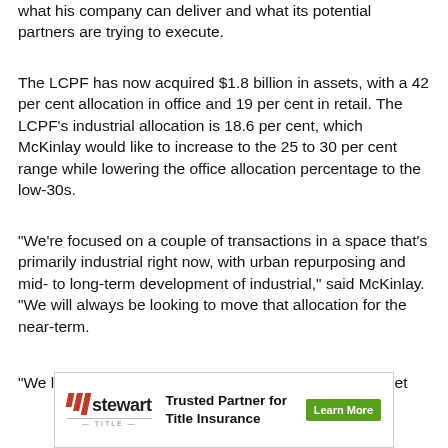what his company can deliver and what its potential partners are trying to execute.
The LCPF has now acquired $1.8 billion in assets, with a 42 per cent allocation in office and 19 per cent in retail. The LCPF's industrial allocation is 18.6 per cent, which McKinlay would like to increase to the 25 to 30 per cent range while lowering the office allocation percentage to the low-30s.
“We’re focused on a couple of transactions in a space that’s primarily industrial right now, with urban repurposing and mid- to long-term development of industrial,” said McKinlay. “We will always be looking to move that allocation for the near-term.
“We like those types of mixed-use deals in multiple asset
[Figure (other): Stewart Title advertisement banner. Logo with red diagonal bars and 'stewart' text with 'TITLE' subtitle. Tagline: 'Trusted Partner for Title Insurance'. Green 'Learn More' button.]